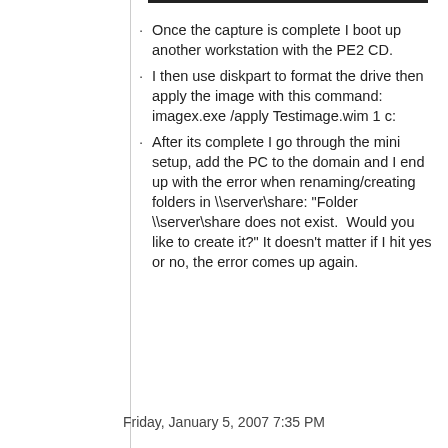Once the capture is complete I boot up another workstation with the PE2 CD.
I then use diskpart to format the drive then apply the image with this command: imagex.exe /apply Testimage.wim 1 c:
After its complete I go through the mini setup, add the PC to the domain and I end up with the error when renaming/creating folders in \\server\share: "Folder \\server\share does not exist.  Would you like to create it?" It doesn't matter if I hit yes or no, the error comes up again.
Friday, January 5, 2007 7:35 PM